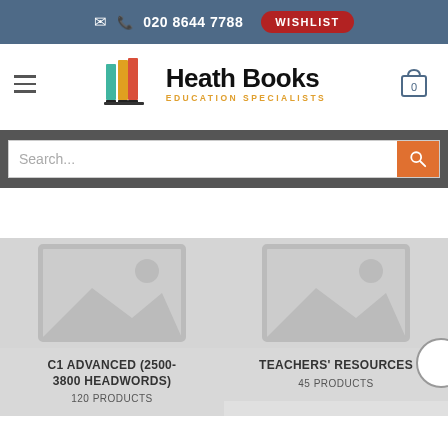020 8644 7788  WISHLIST
[Figure (logo): Heath Books Education Specialists logo with colourful books icon]
Search...
[Figure (photo): Placeholder image for C1 ADVANCED (2500-3800 HEADWORDS) product]
C1 ADVANCED (2500-3800 HEADWORDS)
120 PRODUCTS
[Figure (photo): Placeholder image for TEACHERS' RESOURCES product]
TEACHERS' RESOURCES
45 PRODUCTS